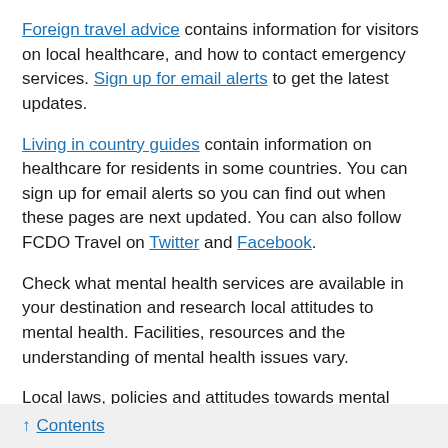Foreign travel advice contains information for visitors on local healthcare, and how to contact emergency services. Sign up for email alerts to get the latest updates.
Living in country guides contain information on healthcare for residents in some countries. You can sign up for email alerts so you can find out when these pages are next updated. You can also follow FCDO Travel on Twitter and Facebook.
Check what mental health services are available in your destination and research local attitudes to mental health. Facilities, resources and the understanding of mental health issues vary.
Local laws, policies and attitudes towards mental health in your destination are likely to determine the type of any psychiatric care you may receive there. In some countries, this may include forced admission without consent, poor local facilities, questionable treatment, a lack of appropriate
↑ Contents